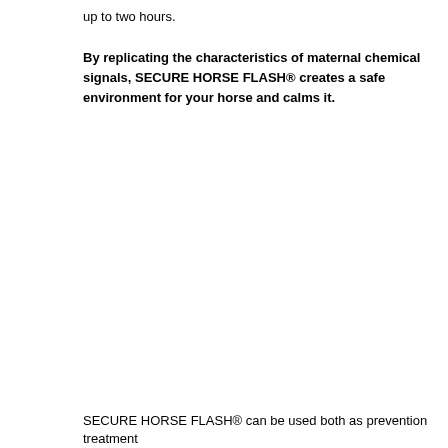up to two hours.
By replicating the characteristics of maternal chemical signals, SECURE HORSE FLASH® creates a safe environment for your horse and calms it.
SECURE HORSE FLASH® can be used both as prevention treatment